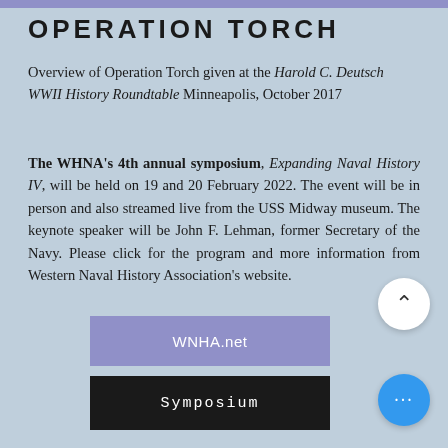OPERATION TORCH
Overview of Operation Torch given at the Harold C. Deutsch WWII History Roundtable Minneapolis, October 2017
The WHNA's 4th annual symposium, Expanding Naval History IV, will be held on 19 and 20 February 2022. The event will be in person and also streamed live from the USS Midway museum. The keynote speaker will be John F. Lehman, former Secretary of the Navy. Please click for the program and more information from Western Naval History Association's website.
[Figure (other): Up arrow button (chevron) in white circle]
[Figure (other): Purple/lavender button labeled WNHA.net]
[Figure (other): Black button labeled Symposium]
[Figure (other): Blue circle button with three dots (ellipsis)]